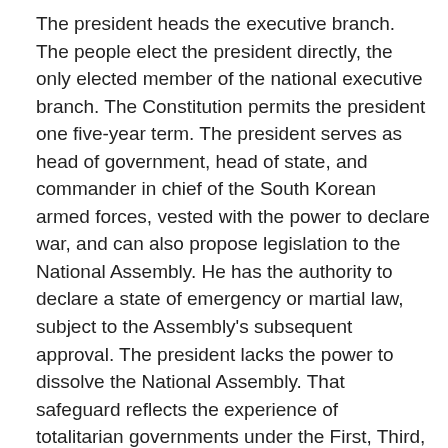The president heads the executive branch. The people elect the president directly, the only elected member of the national executive branch. The Constitution permits the president one five-year term. The president serves as head of government, head of state, and commander in chief of the South Korean armed forces, vested with the power to declare war, and can also propose legislation to the National Assembly. He has the authority to declare a state of emergency or martial law, subject to the Assembly's subsequent approval. The president lacks the power to dissolve the National Assembly. That safeguard reflects the experience of totalitarian governments under the First, Third, and Fourth Republics.
The National Assembly has the vested authority to initiate impeachment proceedings in the event of suspected serious wrongdoing by the president or cabinet-level officials. The Constitutional Court decides impeachment cases. The Prime Minister of South Korea, appointed by